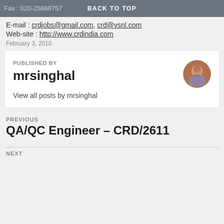BACK TO TOP
Fax : 020-25888757
E-mail : crdjobs@gmail.com, crd@vsnl.com
Web-site : http://www.crdindia.com
February 3, 2010
PUBLISHED BY
mrsinghal
View all posts by mrsinghal
PREVIOUS
QA/QC Engineer – CRD/2611
NEXT